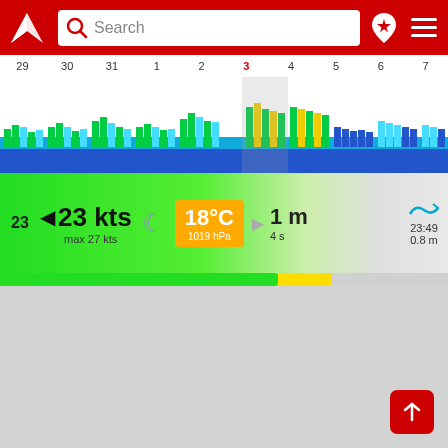[Figure (screenshot): Windy/sailing weather app screenshot showing header with search bar, timeline with wind/wave chart for dates 29-7, and a detailed weather panel showing 23 kts wind (max 27 kts), 18°C / 1019 hPa, 1m waves / 4s period, swell at 23:49 / 0.8m, with a color bar below, on a grey map background with a red FAB button.]
Search
29 30 31 1 2 3 4 5 6 7
23
23 kts
max 27 kts
18°C
1019 hPa
1 m
4 s
23:49
0.8 m